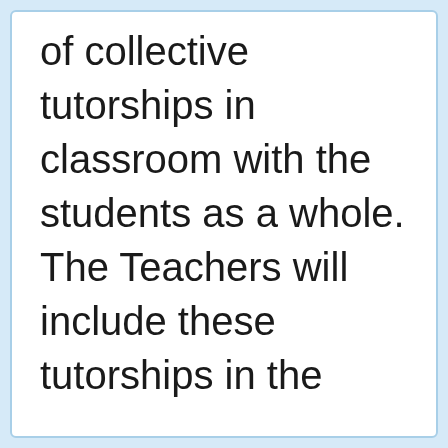of collective tutorships in classroom with the students as a whole. The Teachers will include these tutorships in the